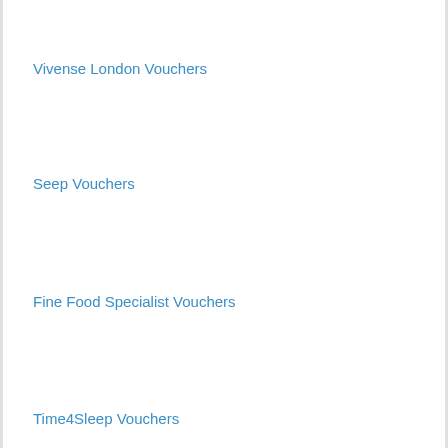Vivense London Vouchers
Seep Vouchers
Fine Food Specialist Vouchers
Time4Sleep Vouchers
Ethical Bedding Vouchers
Cuddledown Vouchers
Holly and Hugo Vouchers
Closer Pets Vouchers
Canned Wine Co Vouchers